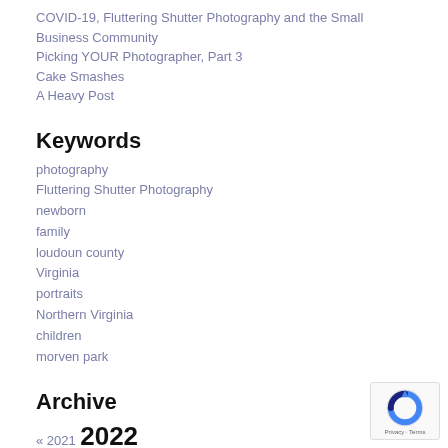COVID-19, Fluttering Shutter Photography and the Small Business Community
Picking YOUR Photographer, Part 3
Cake Smashes
A Heavy Post
Keywords
photography
Fluttering Shutter Photography
newborn
family
loudoun county
Virginia
portraits
Northern Virginia
children
morven park
Archive
« 2021 2022